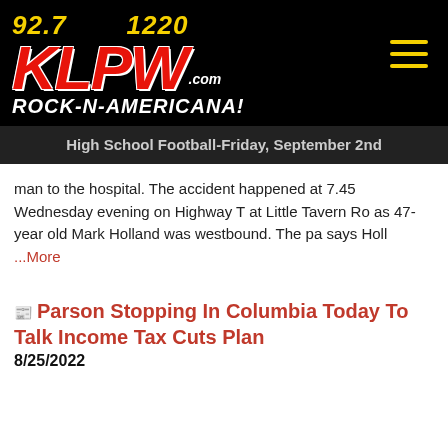[Figure (logo): KLPW radio station logo with frequencies 92.7 and 1220, red KLPW.com text on black background, tagline ROCK-N-AMERICANA!]
High School Football-Friday, September 2nd
man to the hospital. The accident happened at 7.45 Wednesday evening on Highway T at Little Tavern Road as 47-year old Mark Holland was westbound. The pat... says Holl ...More
Parson Stopping In Columbia Today To Talk Income Tax Cuts Plan
8/25/2022